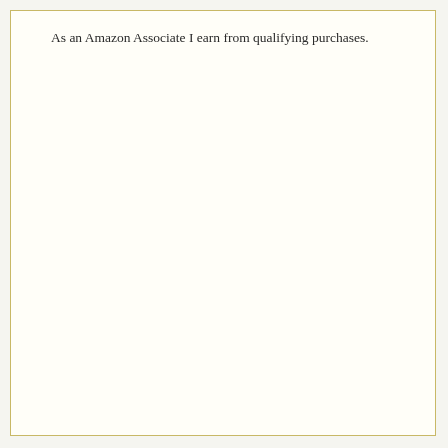As an Amazon Associate I earn from qualifying purchases.